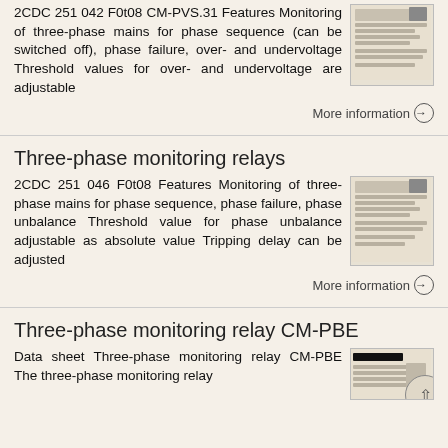2CDC 251 042 F0t08 CM-PVS.31 Features Monitoring of three-phase mains for phase sequence (can be switched off), phase failure, over- and undervoltage Threshold values for over- and undervoltage are adjustable
More information →
Three-phase monitoring relays
2CDC 251 046 F0t08 Features Monitoring of three-phase mains for phase sequence, phase failure, phase unbalance Threshold value for phase unbalance adjustable as absolute value Tripping delay can be adjusted
More information →
Three-phase monitoring relay CM-PBE
Data sheet Three-phase monitoring relay CM-PBE The three-phase monitoring relay